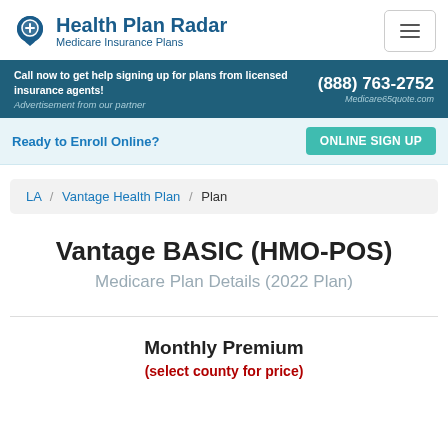Health Plan Radar — Medicare Insurance Plans
Call now to get help signing up for plans from licensed insurance agents! (888) 763-2752 — Advertisement from our partner — Medicare65quote.com
Ready to Enroll Online? ONLINE SIGN UP
LA / Vantage Health Plan / Plan
Vantage BASIC (HMO-POS)
Medicare Plan Details (2022 Plan)
Monthly Premium
(select county for price)